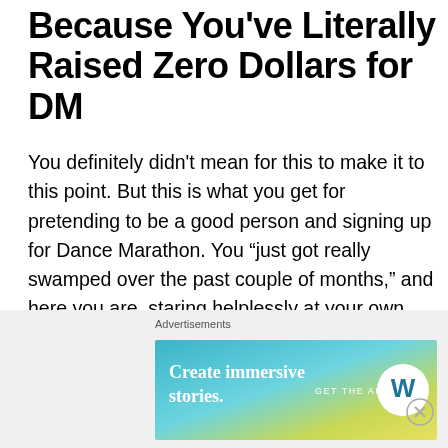Because You've Literally Raised Zero Dollars for DM
You definitely didn’t mean for this to make it to this point. But this is what you get for pretending to be a good person and signing up for Dance Marathon. You “just got really swamped over the past couple of months,” and here you are, staring helplessly at your own, sad fundraising page that no one has visited. But fear not! DM is just like any massive paper you can tackle the night before (I actually have no idea, this is the first time I’ve done this. This is just how I envision my next few days going. Ha!). Here are the steps to follow:
[Figure (other): Advertisement banner: 'Create immersive stories. GET THE APP' with WordPress logo, on a blue-yellow gradient background. Close (X) button in top right of ad area.]